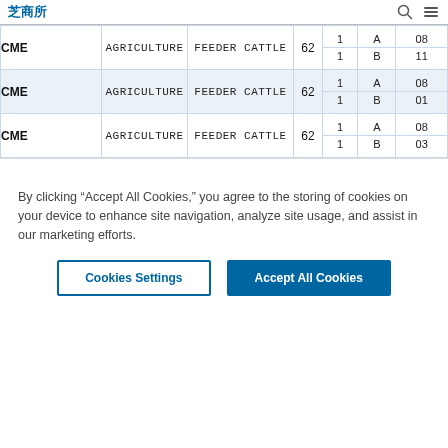芝商所
| Exchange | Category | Product | Num | Sub1 | Sub2 | Code |
| --- | --- | --- | --- | --- | --- | --- |
| CME | AGRICULTURE | FEEDER CATTLE | 62 | 1 | A | 08 |
| CME | AGRICULTURE | FEEDER CATTLE | 62 | 1 | B | 11 |
| CME | AGRICULTURE | FEEDER CATTLE | 62 | 1 | A | 08 |
| CME | AGRICULTURE | FEEDER CATTLE | 62 | 1 | B | 01 |
| CME | AGRICULTURE | FEEDER CATTLE | 62 | 1 | A | 08 |
| CME | AGRICULTURE | FEEDER CATTLE | 62 | 1 | B | 03 |
By clicking “Accept All Cookies,” you agree to the storing of cookies on your device to enhance site navigation, analyze site usage, and assist in our marketing efforts.
Cookies Settings
Accept All Cookies